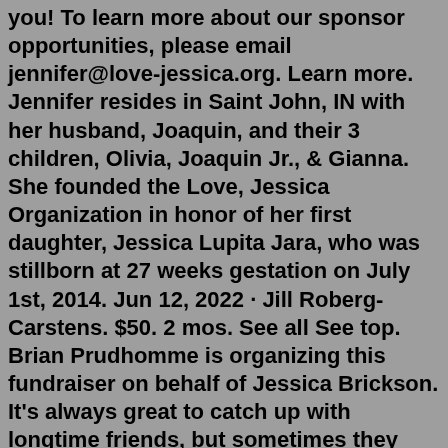you! To learn more about our sponsor opportunities, please email jennifer@love-jessica.org. Learn more. Jennifer resides in Saint John, IN with her husband, Joaquin, and their 3 children, Olivia, Joaquin Jr., & Gianna. She founded the Love, Jessica Organization in honor of her first daughter, Jessica Lupita Jara, who was stillborn at 27 weeks gestation on July 1st, 2014. Jun 12, 2022 · Jill Roberg-Carstens. $50. 2 mos. See all See top. Brian Prudhomme is organizing this fundraiser on behalf of Jessica Brickson. It's always great to catch up with longtime friends, but sometimes they bring bad news. I chatted with Katie Vavrina on 6/12/22 and she told me that our dear friend Jessica Murphy is suddenly battling pancreatic cancer. Love Jessica Season 1 (1) 4.9 2014 18+ Love, Jessica provides a glimpse into the private life of one of the hottest stars in the adult industry. As a contract girl for Wicked Pictures, Drake travels around the world, deals with the drama and stigma attached to the adult industry. Feb 02, 2010 · Well, for those who don't know me - my name's Jessica, I'm 16, and I live